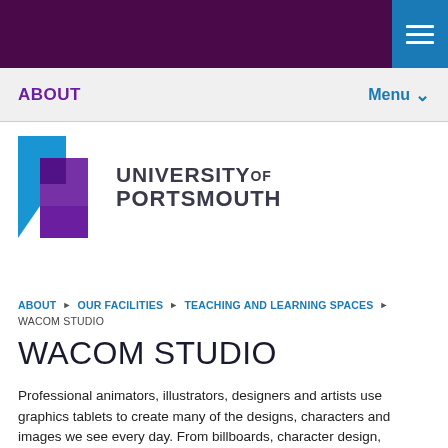[Figure (logo): University of Portsmouth logo with blue and purple geometric shapes and text]
ABOUT  Menu
ABOUT ▶ OUR FACILITIES ▶ TEACHING AND LEARNING SPACES ▶ WACOM STUDIO
WACOM STUDIO
Professional animators, illustrators, designers and artists use graphics tablets to create many of the designs, characters and images we see every day. From billboards, character design, landscapes and animation, graphics tablets are one of the key tools for today's visual creatives.